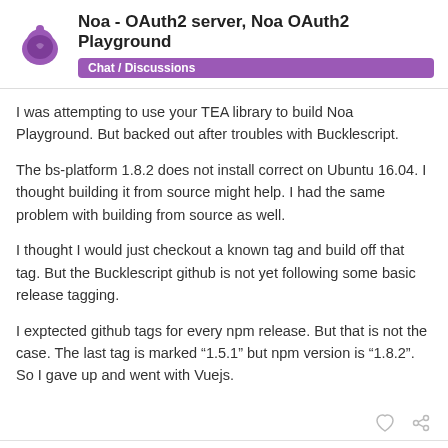Noa - OAuth2 server, Noa OAuth2 Playground | Chat / Discussions
I was attempting to use your TEA library to build Noa Playground. But backed out after troubles with Bucklescript.
The bs-platform 1.8.2 does not install correct on Ubuntu 16.04. I thought building it from source might help. I had the same problem with building from source as well.
I thought I would just checkout a known tag and build off that tag. But the Bucklescript github is not yet following some basic release tagging.
I exptected github tags for every npm release. But that is not the case. The last tag is marked “1.5.1” but npm version is “1.8.2”. So I gave up and went with Vuejs.
OvermindDL1  3 / 14